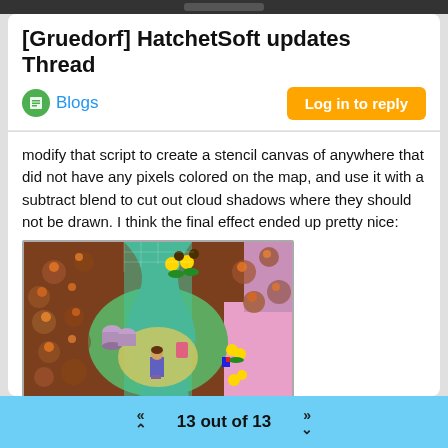[Gruedorf] HatchetSoft updates Thread
Blogs
modify that script to create a stencil canvas of anywhere that did not have any pixels colored on the map, and use it with a subtract blend to cut out cloud shadows where they should not be drawn. I think the final effect ended up pretty nice:
[Figure (screenshot): Top-down RPG game screenshot showing a character on a path surrounded by trees and grass, with colorful flowers and objects visible.]
13 out of 13